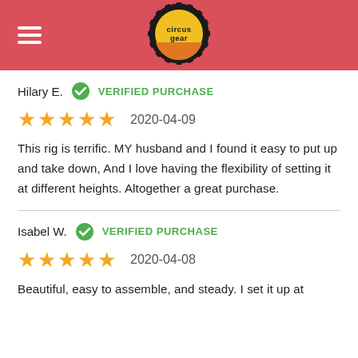[Figure (logo): Circus Gear logo — black gear/cog outline with yellow and orange circular badge, text 'circus gear' in center]
Hilary E.   VERIFIED PURCHASE
★★★★★   2020-04-09
This rig is terrific. MY husband and I found it easy to put up and take down, And I love having the flexibility of setting it at different heights. Altogether a great purchase.
Isabel W.   VERIFIED PURCHASE
★★★★★   2020-04-08
Beautiful, easy to assemble, and steady. I set it up at